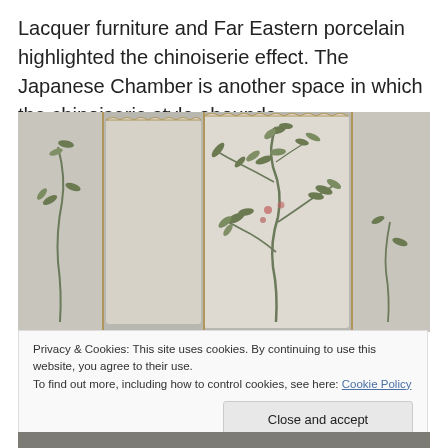Lacquer furniture and Far Eastern porcelain highlighted the chinoiserie effect. The Japanese Chamber is another space in which the chinoiserie style abounds.
[Figure (photo): A decorative folding screen or wall panels painted with chinoiserie-style botanical motifs — bamboo branches with delicate leaves and small flowers on a pale gray-white background, with gold-edged borders between panels.]
Privacy & Cookies: This site uses cookies. By continuing to use this website, you agree to their use.
To find out more, including how to control cookies, see here: Cookie Policy
[Figure (photo): Partial view of another decorative image at the bottom of the page, cropped.]